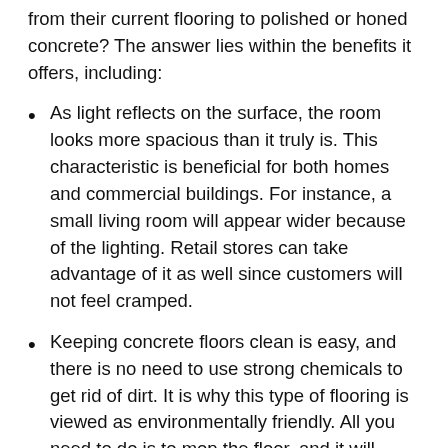from their current flooring to polished or honed concrete? The answer lies within the benefits it offers, including:
As light reflects on the surface, the room looks more spacious than it truly is. This characteristic is beneficial for both homes and commercial buildings. For instance, a small living room will appear wider because of the lighting. Retail stores can take advantage of it as well since customers will not feel cramped.
Keeping concrete floors clean is easy, and there is no need to use strong chemicals to get rid of dirt. It is why this type of flooring is viewed as environmentally friendly. All you need to do is to mop the floor, and it will remove the dust and grime.